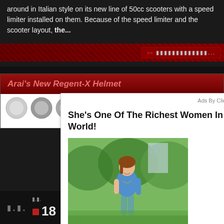around in Italian style on its new line of 50cc scooters with a speed limiter installed on them. Because of the speed limiter and the scooter layout, the...
[Figure (screenshot): Red read more button bar with arrow icon and placeholder text on dark red striped background]
Arai's New Regent-X Helmet
[Figure (screenshot): Ad overlay from ClickAdilla showing headline 'She's One Of The Richest Women In The World!' with photo of a young woman in a blue top outdoors, labeled 2it at bottom right. A black X close button appears at bottom right of overlay. Red circular element visible at right edge of page.]
2